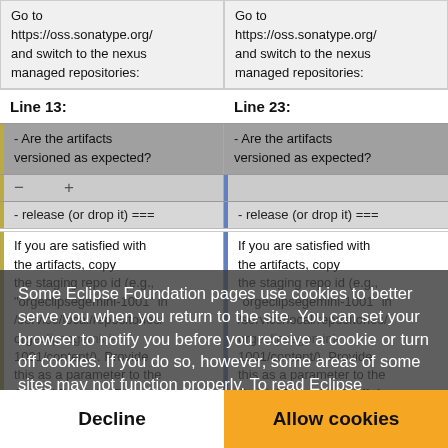| Line 13: | Line 23: |
| --- | --- |
| Go to https://oss.sonatype.org/ and switch to the nexus managed repositories: | Go to https://oss.sonatype.org/ and switch to the nexus managed repositories: |
| - Are the artifacts versioned as expected? | - Are the artifacts versioned as expected? |
| - === release (or drop it) === | - === release (or drop it) === |
| If you are satisfied with the artifacts, copy the staging repo id (e.g., "orgeclipsegemini-1001" in /service/local/repositories/orgeclipsegemini-1001/content/). Provide this as a parameter to the Gemini Blueprint Release | If you are satisfied with the artifacts, copy the staging repo id (e.g., "orgeclipsegemini-1001" in /service/local/repositories/orgeclipsegemini-1001/content/). Provide this as a parameter to the Gemini Blueprint Publish |
Some Eclipse Foundation pages use cookies to better serve you when you return to the site. You can set your browser to notify you before you receive a cookie or turn off cookies. If you do so, however, some areas of some sites may not function properly. To read Eclipse Foundation Privacy Policy click here.